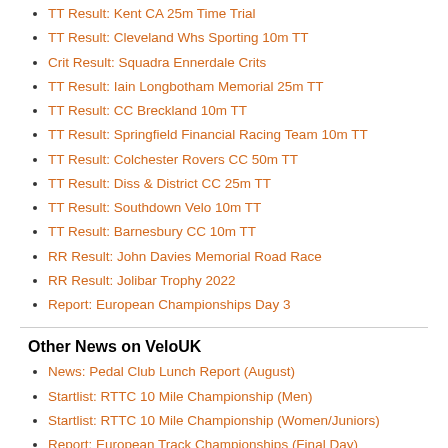TT Result: Kent CA 25m Time Trial
TT Result: Cleveland Whs Sporting 10m TT
Crit Result: Squadra Ennerdale Crits
TT Result: Iain Longbotham Memorial 25m TT
TT Result: CC Breckland 10m TT
TT Result: Springfield Financial Racing Team 10m TT
TT Result: Colchester Rovers CC 50m TT
TT Result: Diss & District CC 25m TT
TT Result: Southdown Velo 10m TT
TT Result: Barnesbury CC 10m TT
RR Result: John Davies Memorial Road Race
RR Result: Jolibar Trophy 2022
Report: European Championships Day 3
Other News on VeloUK
News: Pedal Club Lunch Report (August)
Startlist: RTTC 10 Mile Championship (Men)
Startlist: RTTC 10 Mile Championship (Women/Juniors)
Report: European Track Championships (Final Day)
European Track Championships (Aug 15)
Report: European Championships Day 3
European Track Championships Day 4
GB News: Paracycling Worlds Day 2
News: Medal for GB in...